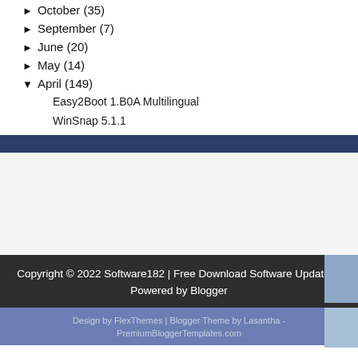► October (35)
► September (7)
► June (20)
► May (14)
▼ April (149)
Easy2Boot 1.B0A Multilingual
WinSnap 5.1.1
Copyright © 2022 Software182 | Free Download Software Updates | Powered by Blogger
Design by FlexThemes | Blogger Theme by Lasantha - PremiumBloggerTemplates.com